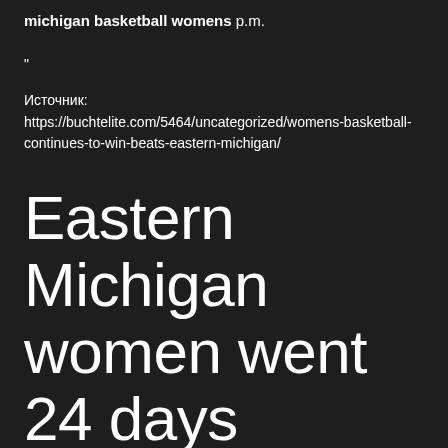michigan basketball womens p.m.
“
Источник: https://buchtelite.com/5464/uncategorized/womens-basketball-continues-to-win-beats-eastern-michigan/
Eastern Michigan women went 24 days between games, are thrilled for 'new season'